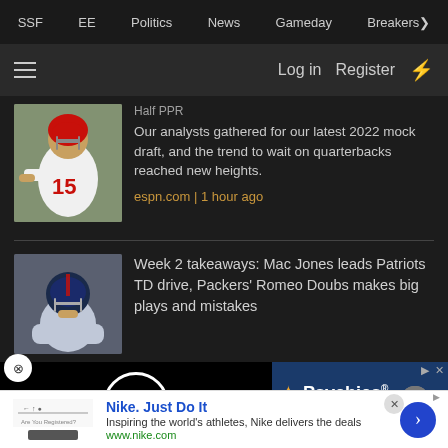SSF  EE  Politics  News  Gameday  Breakers
Log in  Register
Half PPR
Our analysts gathered for our latest 2022 mock draft, and the trend to wait on quarterbacks reached new heights.
espn.com | 1 hour ago
Week 2 takeaways: Mac Jones leads Patriots TD drive, Packers' Romeo Doubs makes big plays and mistakes
[Figure (screenshot): Video player with black background and white circle play-area indicator]
[Figure (screenshot): Psychics advertisement with blue background and gold star icons]
content, tailor your experience an
[Figure (screenshot): Nike advertisement: Nike. Just Do It. Inspiring the world's athletes, Nike delivers the deals. www.nike.com]